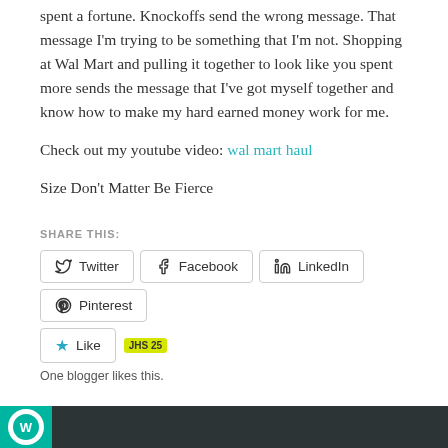spent a fortune. Knockoffs send the wrong message. That message I'm trying to be something that I'm not. Shopping at Wal Mart and pulling it together to look like you spent more sends the message that I've got myself together and know how to make my hard earned money work for me.
Check out my youtube video: wal mart haul
Size Don't Matter Be Fierce
SHARE THIS:
Twitter  Facebook  LinkedIn  Pinterest
Like
One blogger likes this.